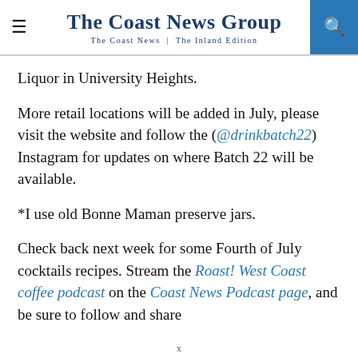The Coast News Group — The Coast News | The Inland Edition
Liquor in University Heights.
More retail locations will be added in July, please visit the website and follow the (@drinkbatch22) Instagram for updates on where Batch 22 will be available.
*I use old Bonne Maman preserve jars.
Check back next week for some Fourth of July cocktails recipes. Stream the Roast! West Coast coffee podcast on the Coast News Podcast page, and be sure to follow and share
x